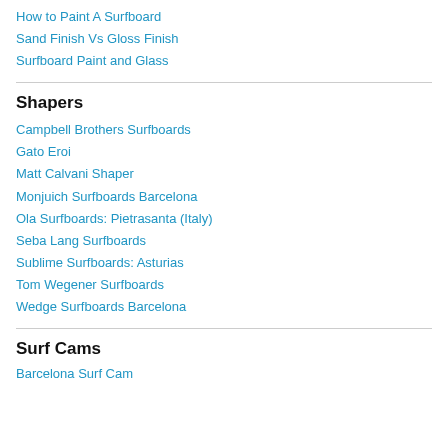How to Paint A Surfboard
Sand Finish Vs Gloss Finish
Surfboard Paint and Glass
Shapers
Campbell Brothers Surfboards
Gato Eroi
Matt Calvani Shaper
Monjuich Surfboards Barcelona
Ola Surfboards: Pietrasanta (Italy)
Seba Lang Surfboards
Sublime Surfboards: Asturias
Tom Wegener Surfboards
Wedge Surfboards Barcelona
Surf Cams
Barcelona Surf Cam